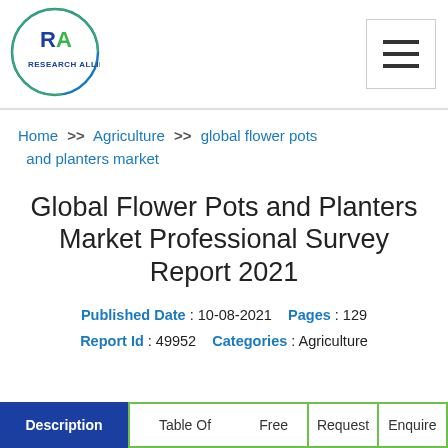[Figure (logo): Research Allied circular logo with 'RA' monogram in blue and green, and 'RESEARCH ALLIED' text]
Home >> Agriculture >> global flower pots and planters market
Global Flower Pots and Planters Market Professional Survey Report 2021
Published Date : 10-08-2021    Pages : 129
Report Id : 49952    Categories : Agriculture
Description | Table Of | Free | Request | Enquire